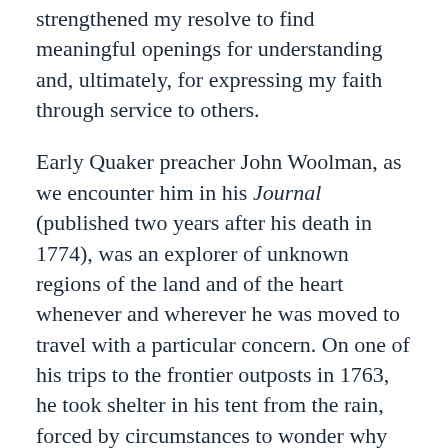strengthened my resolve to find meaningful openings for understanding and, ultimately, for expressing my faith through service to others.
Early Quaker preacher John Woolman, as we encounter him in his Journal (published two years after his death in 1774), was an explorer of unknown regions of the land and of the heart whenever and wherever he was moved to travel with a particular concern. On one of his trips to the frontier outposts in 1763, he took shelter in his tent from the rain, forced by circumstances to wonder why he felt compelled to make such a hazardous journey in the first place. “Love was the first motion,” he wrote, “and then a concern arose to spend some time with the Indians, that I might feel and understand their life, and the Spirit they live in.” Woolman was no accidental tourist motivated by curiosity or by the spirit of adventure, nor did he see his mission as part of the westward expansion promoted by many of